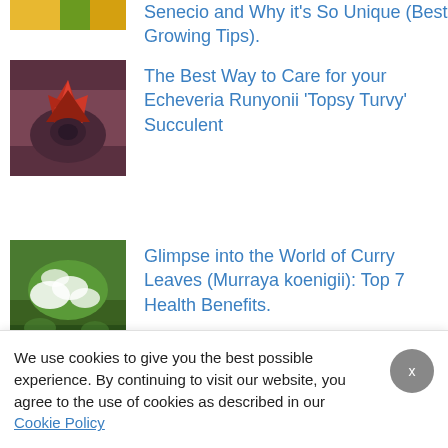Senecio and Why it's So Unique (Best Growing Tips).
The Best Way to Care for your Echeveria Runyonii 'Topsy Turvy' Succulent
Glimpse into the World of Curry Leaves (Murraya koenigii): Top 7 Health Benefits.
The Ultimate Care Guide for
We use cookies to give you the best possible experience. By continuing to visit our website, you agree to the use of cookies as described in our
Cookie Policy